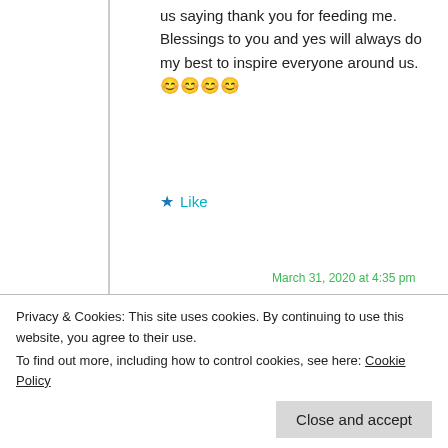us saying thank you for feeding me. Blessings to you and yes will always do my best to inspire everyone around us. 😊😊😊😊
Like
Reply
Joyful2bee says:
March 31, 2020 at 3:58 pm
I am sure you will
Privacy & Cookies: This site uses cookies. By continuing to use this website, you agree to their use.
To find out more, including how to control cookies, see here: Cookie Policy
Close and accept
March 31, 2020 at 4:35 pm